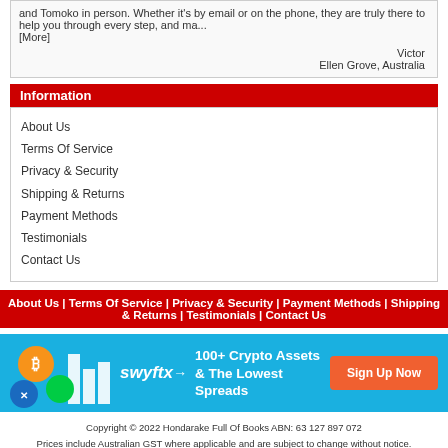and Tomoko in person. Whether it's by email or on the phone, they are truly there to help you through every step, and ma... [More]
Victor
Ellen Grove, Australia
Information
About Us
Terms Of Service
Privacy & Security
Shipping & Returns
Payment Methods
Testimonials
Contact Us
About Us | Terms Of Service | Privacy & Security | Payment Methods | Shipping & Returns | Testimonials | Contact Us
[Figure (infographic): Swyftx advertisement banner: 100+ Crypto Assets & The Lowest Spreads, Sign Up Now button on blue background]
Copyright © 2022 Hondarake Full Of Books ABN: 63 127 897 072
Prices include Australian GST where applicable and are subject to change without notice.
Overseas visitors should log in for GST free pricing. Orders are billed in Australian Dollars unless otherwise noted.
Product images are for illustration purposes only and may vary slightly from the actual product shipped.
All trademarks are owned by the respective companies.
Full Of Books 1.7.1 (1050) Copyright © 2022, Tomingo Design
Based on osCommerce Online Merchant v2.2 RC2a, Copyright © 2008 osCommerce